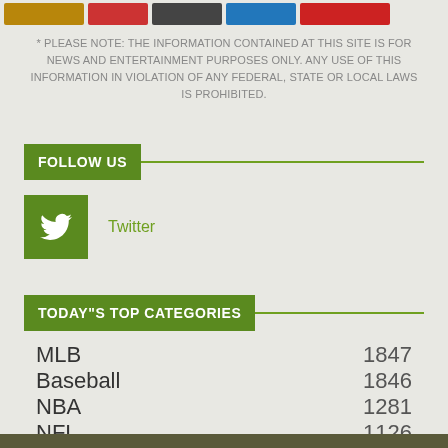[Figure (logo): Row of partner/sponsor logos at top of page]
* PLEASE NOTE: THE INFORMATION CONTAINED AT THIS SITE IS FOR NEWS AND ENTERTAINMENT PURPOSES ONLY. ANY USE OF THIS INFORMATION IN VIOLATION OF ANY FEDERAL, STATE OR LOCAL LAWS IS PROHIBITED.
FOLLOW US
[Figure (illustration): Green square Twitter icon button followed by 'Twitter' text link in green]
TODAY"S TOP CATEGORIES
MLB  1847
Baseball  1846
NBA  1281
NFL  1126